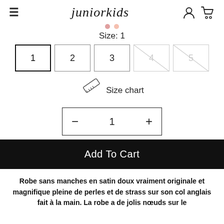juniorkids
Size: 1
1  2  3  4  5
[Figure (illustration): Ruler icon next to 'Size chart' link]
Size chart
− 1 +
Add To Cart
Robe sans manches en satin doux vraiment originale et magnifique pleine de perles et de strass sur son col anglais fait à la main. La robe a de jolis nœuds sur le